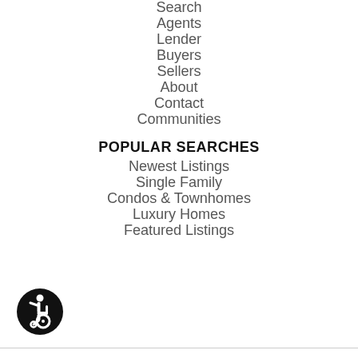Search
Agents
Lender
Buyers
Sellers
About
Contact
Communities
POPULAR SEARCHES
Newest Listings
Single Family
Condos & Townhomes
Luxury Homes
Featured Listings
[Figure (illustration): Wheelchair accessibility icon — black circle with white wheelchair user symbol]